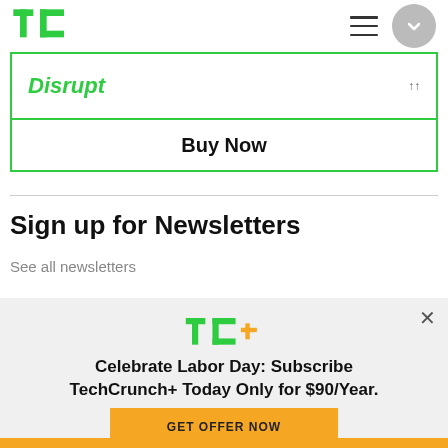[Figure (logo): TechCrunch TC logo in green]
Disrupt
Buy Now
Sign up for Newsletters
See all newsletters
[Figure (logo): TC+ logo in green with yellow plus sign]
Celebrate Labor Day: Subscribe TechCrunch+ Today Only for $90/Year.
GET OFFER NOW